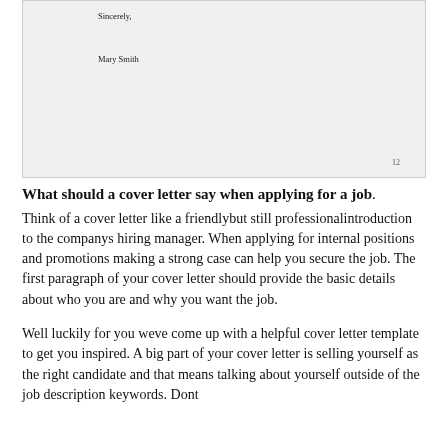Sincerely,
Mary Smith
12
What should a cover letter say when applying for a job.
Think of a cover letter like a friendlybut still professionalintroduction to the companys hiring manager. When applying for internal positions and promotions making a strong case can help you secure the job. The first paragraph of your cover letter should provide the basic details about who you are and why you want the job.
Well luckily for you weve come up with a helpful cover letter template to get you inspired. A big part of your cover letter is selling yourself as the right candidate and that means talking about yourself outside of the job description keywords. Dont